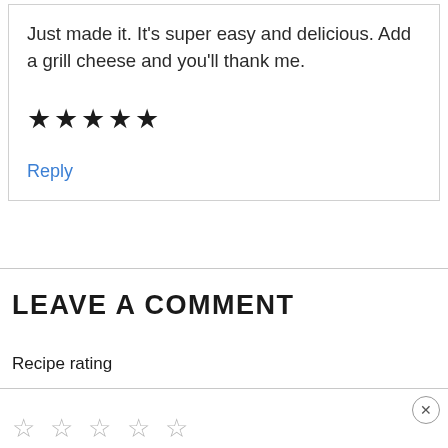Just made it. It's super easy and delicious. Add a grill cheese and you'll thank me.
★★★★★
Reply
LEAVE A COMMENT
Recipe rating
☆ ☆ ☆ ☆ ☆